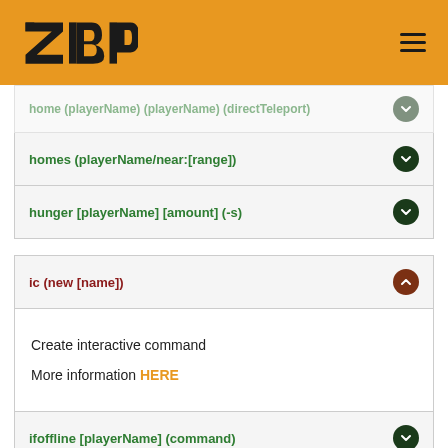ZBPS
homes (playerName/near:[range])
hunger [playerName] [amount] (-s)
ic (new [name])
Create interactive command

More information HERE
ifoffline [playerName] (command)
ifonline [playerName] (command)
ignore (playerName/uuid/all)